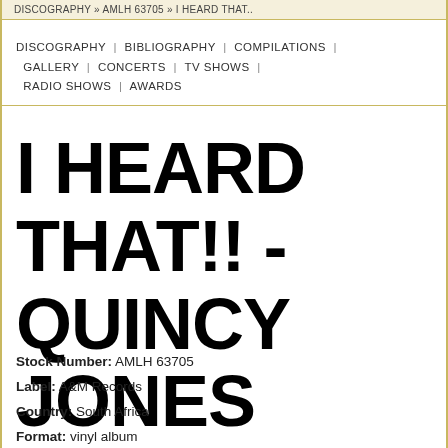DISCOGRAPHY » AMLH 63705 » I HEARD THAT..
DISCOGRAPHY | BIBLIOGRAPHY | COMPILATIONS | GALLERY | CONCERTS | TV SHOWS | RADIO SHOWS | AWARDS
I HEARD THAT!! - QUINCY JONES
Stock Number: AMLH 63705
Label: A&M Records
Country: South Africa
Format: vinyl album